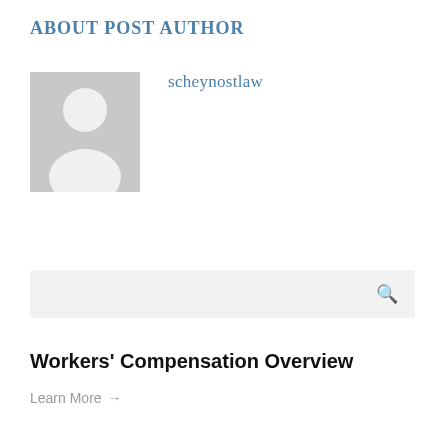ABOUT POST AUTHOR
[Figure (illustration): Generic user avatar placeholder image — grey square with white silhouette of a person (head and shoulders)]
scheynostlaw
[Figure (other): Search bar with magnifying glass icon on grey/light background]
Workers’ Compensation Overview
Learn More →